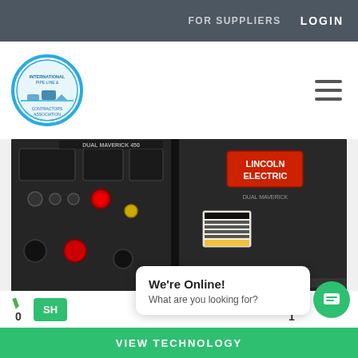FOR SUPPLIERS   LOGIN
[Figure (logo): International Pipe Line & Offshore Contractors Association circular logo with blue border]
[Figure (photo): Lincoln Electric Dual Maverick 450 welder generator unit, dark grey industrial machine with control panel visible]
Dual Maverick™
Two arcs using one welder generator
We're Online! What are you looking for?
VIEW TECHNOLOGY